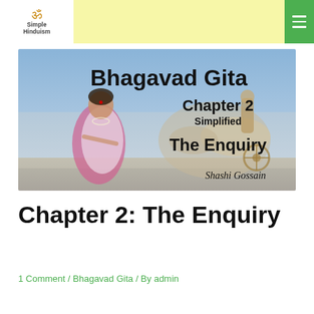Simple Hinduism
[Figure (illustration): Bhagavad Gita Chapter 2 Simplified – The Enquiry by Shashi Gossain. Book cover image showing a woman in a pink and white sari in front of a scene depicting the Bhagavad Gita chariot battlefield. Text on image: 'Bhagavad Gita', 'Chapter 2', 'Simplified', 'The Enquiry', 'Shashi Gossain']
Chapter 2: The Enquiry
1 Comment / Bhagavad Gita / By admin